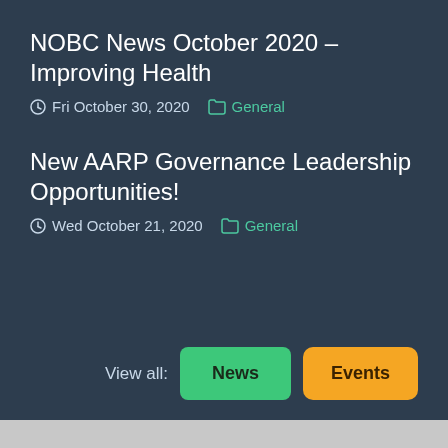NOBC News October 2020 – Improving Health
Fri October 30, 2020   General
New AARP Governance Leadership Opportunities!
Wed October 21, 2020   General
View all:  News  Events